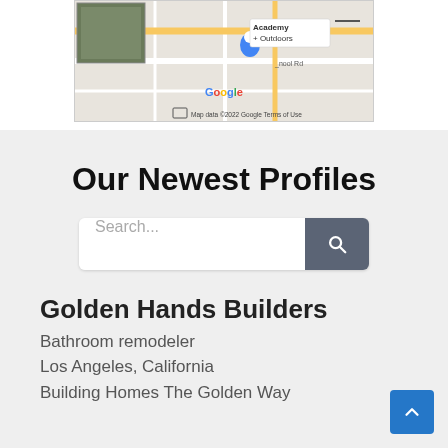[Figure (screenshot): Google Maps screenshot showing partial map view with Academy + Outdoors label, Google logo, and 'Map data ©2022 Google  Terms of Use' footer]
Our Newest Profiles
Search...
Golden Hands Builders
Bathroom remodeler
Los Angeles, California
Building Homes The Golden Way